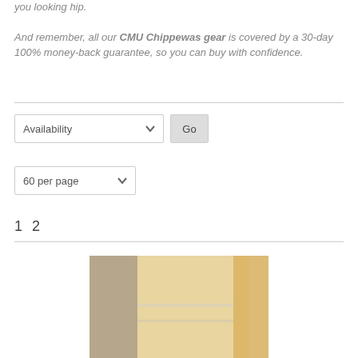you looking hip. And remember, all our CMU Chippewas gear is covered by a 30-day 100% money-back guarantee, so you can buy with confidence.
[Figure (screenshot): Availability filter dropdown and Go button, followed by a 60 per page dropdown, pagination (1 2), and a product photo at the bottom.]
1 2
[Figure (photo): Partial product image, appears to show a light-colored garment or item on a shelf.]